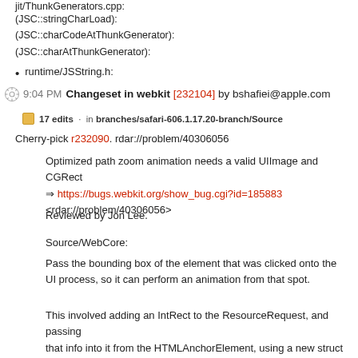jit/ThunkGenerators.cpp:
(JSC::stringCharLoad):
(JSC::charCodeAtThunkGenerator):
(JSC::charAtThunkGenerator):
runtime/JSString.h:
9:04 PM Changeset in webkit [232104] by bshafiei@apple.com
17 edits · in branches/safari-606.1.17.20-branch/Source
Cherry-pick r232090. rdar://problem/40306056
Optimized path zoom animation needs a valid UIImage and CGRect
⇒ https://bugs.webkit.org/show_bug.cgi?id=185883
<rdar://problem/40306056>
Reviewed by Jon Lee.
Source/WebCore:
Pass the bounding box of the element that was clicked onto the UI process, so it can perform an animation from that spot.
This involved adding an IntRect to the ResourceRequest, and passing
that info into it from the HTMLAnchorElement, using a new struct